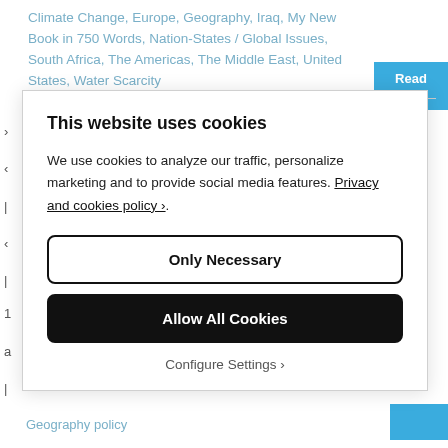Climate Change, Europe, Geography, Iraq, My New Book in 750 Words, Nation-States / Global Issues, South Africa, The Americas, The Middle East, United States, Water Scarcity
This website uses cookies
We use cookies to analyze our traffic, personalize marketing and to provide social media features. Privacy and cookies policy ›.
Only Necessary
Allow All Cookies
Configure Settings ›